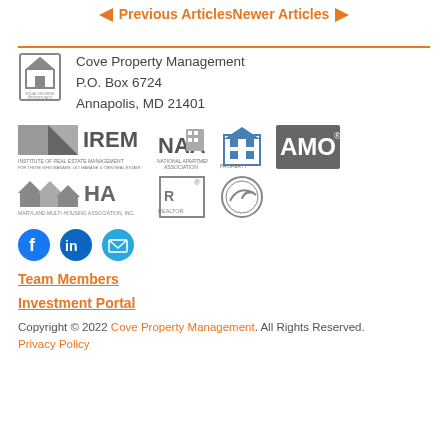◄ Previous Articles  Newer Articles ►
[Figure (logo): Association logos: IREM, NAA, Property Management, AMO, MMHA, REALTOR, Seal]
Cove Property Management
P.O. Box 6724
Annapolis, MD 21401
[Figure (illustration): Social media icons: Facebook, LinkedIn, Email]
Team Members
Investment Portal
Copyright © 2022 Cove Property Management. All Rights Reserved.
Privacy Policy